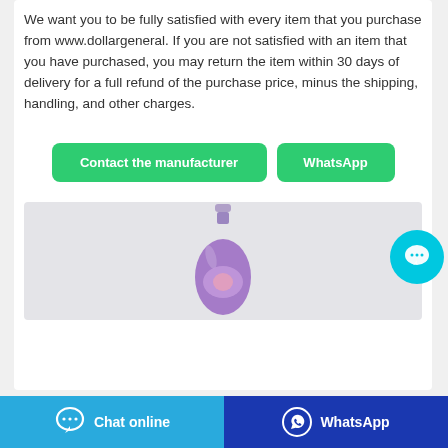We want you to be fully satisfied with every item that you purchase from www.dollargeneral. If you are not satisfied with an item that you have purchased, you may return the item within 30 days of delivery for a full refund of the purchase price, minus the shipping, handling, and other charges.
[Figure (other): Two green buttons side by side: 'Contact the manufacturer' and 'WhatsApp']
[Figure (photo): Product photo of a purple bottle (likely laundry detergent) on a light gray background, partially visible]
[Figure (other): Floating cyan circular chat bubble icon on the right side]
[Figure (other): Bottom footer bar with two buttons: 'Chat online' (cyan/blue) on the left and 'WhatsApp' (dark blue) on the right, each with icons]